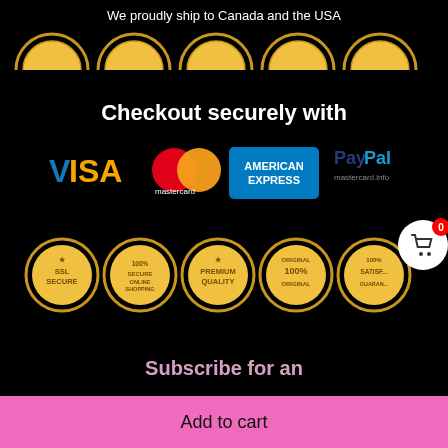We proudly ship to Canada and the USA
[Figure (illustration): Row of partial gold badge seals at top of page]
Checkout securely with
[Figure (illustration): Payment logos: VISA, Mastercard, American Express, PayPal]
[Figure (illustration): Row of five gold trust badge seals: SSL Secure, 100% Secure Online Shopping, Premium Quality, 100% Original, 100% Satisfaction Guarantee]
Subscribe for an
Add to cart